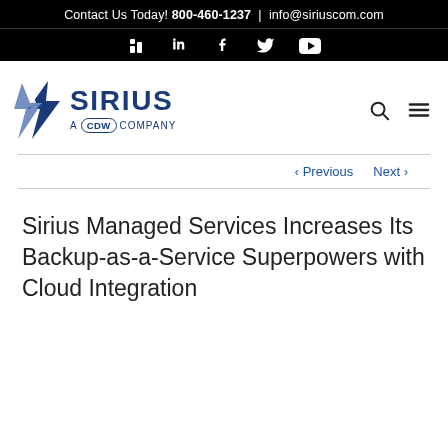Contact Us Today! 800-460-1237 | info@siriuscom.com
[Figure (logo): Social media icons: LinkedIn, Facebook, Twitter, YouTube on black background]
[Figure (logo): Sirius A CDW Company logo with lightning bolt graphic]
< Previous   Next >
Sirius Managed Services Increases Its Backup-as-a-Service Superpowers with Cloud Integration